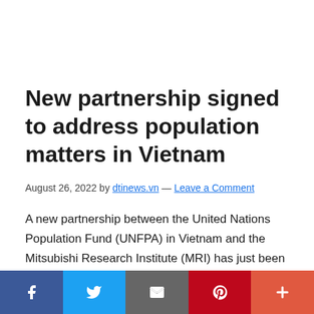New partnership signed to address population matters in Vietnam
August 26, 2022 by dtinews.vn — Leave a Comment
A new partnership between the United Nations Population Fund (UNFPA) in Vietnam and the Mitsubishi Research Institute (MRI) has just been